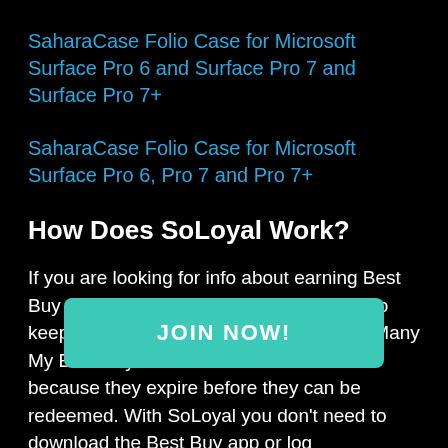SaharaCase Folio Case for Microsoft Surface Pro 6 and Surface Pro 7 and Surface Pro 7+
SaharaCase Folio Case for Microsoft Surface Pro 6, Pro 7 and Pro 7+
How Does SoLoyal Work?
If you are looking for info about earning Best Buy points, you already know it's difficult to keep track of your My Best Buy account. Many My Best Buy members lose their rewards because they expire before they can be redeemed. With SoLoyal you don't need to download the Best Buy app or log into track your re ks and m nd benefits at Best Buy and hundreds of
JOIN NOW!